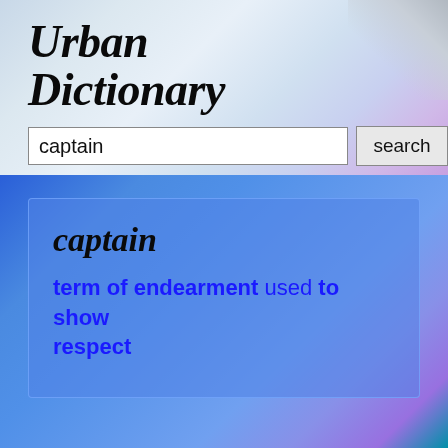Urban Dictionary
captain [search input]
captain
term of endearment used to show respect